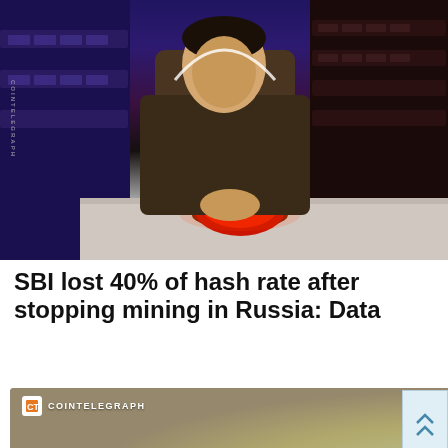[Figure (illustration): Animated illustration of a man in a suit pressing a large red button on a white surface, with rows of mining hardware in the background (dark purple/blue tones). CoinTelegraph watermark visible on left side.]
SBI lost 40% of hash rate after stopping mining in Russia: Data
[Figure (illustration): CoinTelegraph branded image showing a golden Bitcoin coin with a hand/arm reaching for it, blue gradient background. Ad unit from Yahoo! Search.]
Search for
01.  Top 10 Innovative Startup Ideas
02.  Low Cost Start Up Business
Yahoo! Search | Sponsored